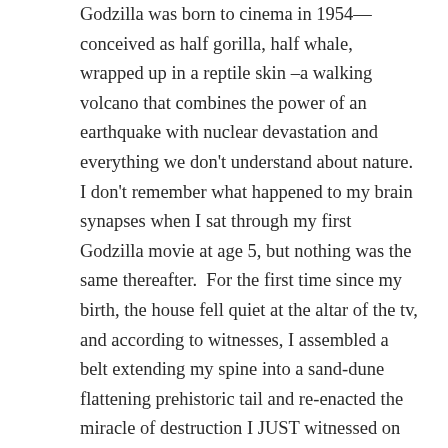Godzilla was born to cinema in 1954—conceived as half gorilla, half whale, wrapped up in a reptile skin –a walking volcano that combines the power of an earthquake with nuclear devastation and everything we don't understand about nature. I don't remember what happened to my brain synapses when I sat through my first Godzilla movie at age 5, but nothing was the same thereafter. For the first time since my birth, the house fell quiet at the altar of the tv, and according to witnesses, I assembled a belt extending my spine into a sand-dune flattening prehistoric tail and re-enacted the miracle of destruction I JUST witnessed on the 3 o'clock Ghoulie Movie. Sometime later, an old white man dressed as a superhero with a washing machine door for a helmet had the first news on TV I ever paid attention to: